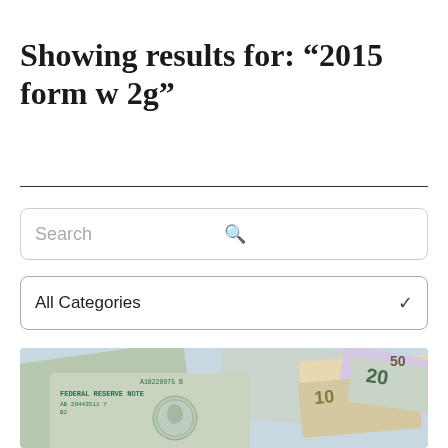Showing results for: “2015 form w 2g”
[Figure (photo): Photo of scattered US currency bills including $100, $20, $10 denominations, with visible serial numbers and Federal Reserve markings]
Search
All Categories